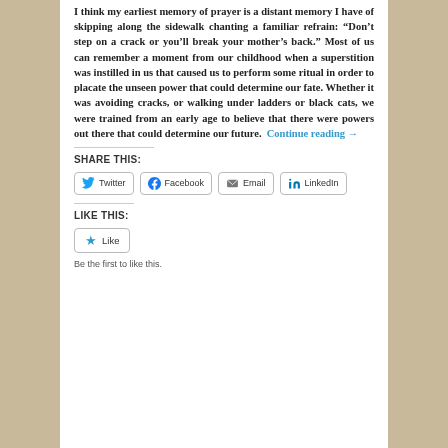I think my earliest memory of prayer is a distant memory I have of skipping along the sidewalk chanting a familiar refrain: “Don’t step on a crack or you’ll break your mother’s back.” Most of us can remember a moment from our childhood when a superstition was instilled in us that caused us to perform some ritual in order to placate the unseen power that could determine our fate. Whether it was avoiding cracks, or walking under ladders or black cats, we were trained from an early age to believe that there were powers out there that could determine our future. Continue reading →
SHARE THIS:
Twitter
Facebook
Email
LinkedIn
LIKE THIS:
Like
Be the first to like this.